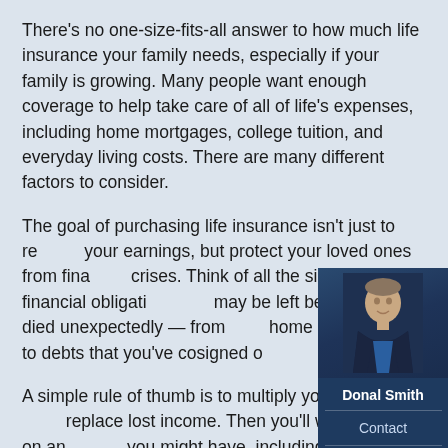There's no one-size-fits-all answer to how much life insurance your family needs, especially if your family is growing. Many people want enough coverage to help take care of all of life's expenses, including home mortgages, college tuition, and everyday living costs. There are many different factors to consider.
The goal of purchasing life insurance isn't just to replace your earnings, but protect your loved ones from financial crises. Think of all the significant financial obligations that may be left behind if you died unexpectedly — from your home and business to debts that you've cosigned on.
A simple rule of thumb is to multiply your salary by 10 to replace lost income. Then you'll want to add on any debts you might have, including mortgage payments, estimated education costs, child and general household care, and other daily expenses. You may also want to add extra coverage that would help cover your spouse's income for a year or two, so that the surviving parent wouldn't have to
[Figure (photo): Headshot of agent Donal Smith, a man in a dark suit and blue shirt, against a dark background]
Donal Smith
Contact
Quote
Meet